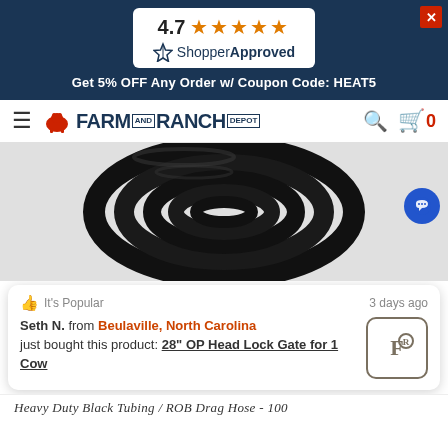[Figure (screenshot): ShopperApproved rating badge showing 4.7 stars]
Get 5% OFF Any Order w/ Coupon Code: HEAT5
[Figure (logo): Farm and Ranch Depot logo with hamburger menu, search icon, and cart showing 0]
[Figure (photo): Heavy Duty Black Tubing / ROB Drag Hose coiled, 100 ft, black color]
It's Popular   3 days ago
Seth N. from Beulaville, North Carolina just bought this product: 28" OP Head Lock Gate for 1 Cow
Heavy Duty Black Tubing / ROB Drag Hose - 100